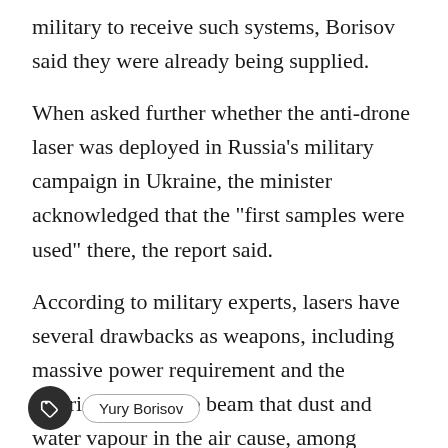military to receive such systems, Borisov said they were already being supplied.
When asked further whether the anti-drone laser was deployed in Russia’s military campaign in Ukraine, the minister acknowledged that the “first samples were used” there, the report said.
According to military experts, lasers have several drawbacks as weapons, including massive power requirement and the deterioration of the beam that dust and water vapour in the air cause, among others.
(IANS)
Yury Borisov